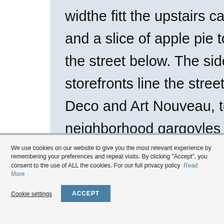widthe fitt the upstairs cafeteria mezzanine. I brought ice tea and a slice of apple pie to a table under an arch and studied the street below. The sidewalk is mottled and grimy. Modern storefronts line the street but above them sit the original Art Deco and Art Nouveau, terracotta tiles. Elsewhere in the neighborhood gargoyles and embellishments are shrouded in dust. Filigreed rooftops reach into a smoggy sky.
We use cookies on our website to give you the most relevant experience by remembering your preferences and repeat visits. By clicking "Accept", you consent to the use of ALL the cookies. For our full privacy policy  Read More
Cookie settings
ACCEPT